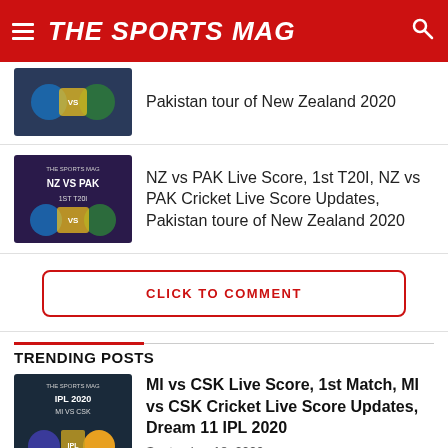THE SPORTS MAG
Pakistan tour of New Zealand 2020
NZ vs PAK Live Score, 1st T20I, NZ vs PAK Cricket Live Score Updates, Pakistan toure of New Zealand 2020
CLICK TO COMMENT
TRENDING POSTS
MI vs CSK Live Score, 1st Match, MI vs CSK Cricket Live Score Updates, Dream 11 IPL 2020
September 18, 2020